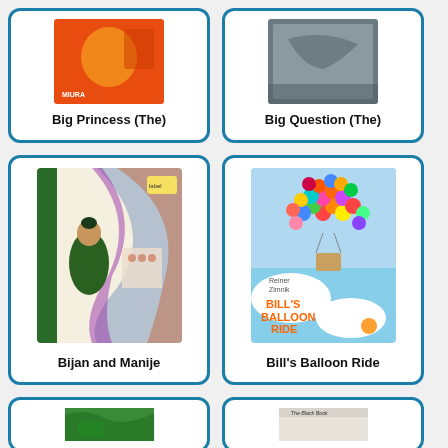[Figure (illustration): Book cover for Big Princess (The) - orange cover with figure]
Big Princess (The)
[Figure (illustration): Book cover for Big Question (The) - dark/grey cover]
Big Question (The)
[Figure (illustration): Book cover for Bijan and Manije - illustrated cover with figures and colorful design]
Bijan and Manije
[Figure (illustration): Book cover for Bill's Balloon Ride - colorful balloons lifting a basket, by Reiner Zimnik]
Bill's Balloon Ride
[Figure (illustration): Partial book cover - green, partially visible at bottom]
[Figure (illustration): Partial book cover - The Black Book, partially visible at bottom]